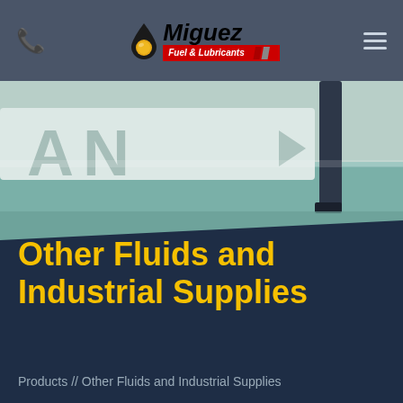[Figure (logo): Miguez Fuel & Lubricants logo with oil drop icon, red banner, and company name in italic bold font]
[Figure (photo): Close-up photo of industrial fluid containers or tanks, with text 'AN' partially visible, in white and teal/green colors with a dark strap]
Other Fluids and Industrial Supplies
Products // Other Fluids and Industrial Supplies